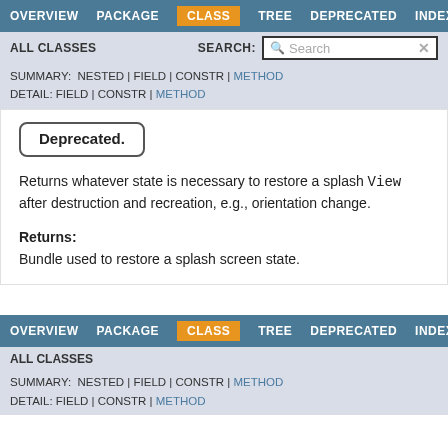OVERVIEW  PACKAGE  CLASS  TREE  DEPRECATED  INDEX
ALL CLASSES   SEARCH:  [Search]
SUMMARY: NESTED | FIELD | CONSTR | METHOD
DETAIL: FIELD | CONSTR | METHOD
Deprecated.
Returns whatever state is necessary to restore a splash View after destruction and recreation, e.g., orientation change.
Returns:
Bundle used to restore a splash screen state.
OVERVIEW  PACKAGE  CLASS  TREE  DEPRECATED  INDEX
ALL CLASSES
SUMMARY: NESTED | FIELD | CONSTR | METHOD
DETAIL: FIELD | CONSTR | METHOD